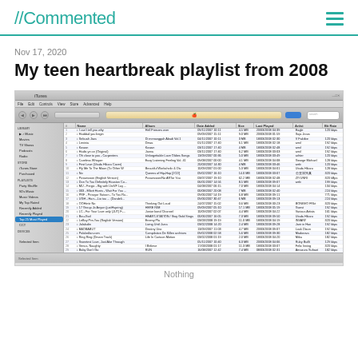//Commented
Nov 17, 2020
My teen heartbreak playlist from 2008
[Figure (screenshot): Screenshot of iTunes application showing a playlist titled 'iTunes' with approximately 28 songs listed. The playlist appears to be from 2008, showing columns for track number, name, album, date added, size, last played, artist, and bit rate. The sidebar shows various playlist categories including Library, Store, Playlists, and Devices. At the bottom it shows 'Selected Item' and 'Nothing'.]